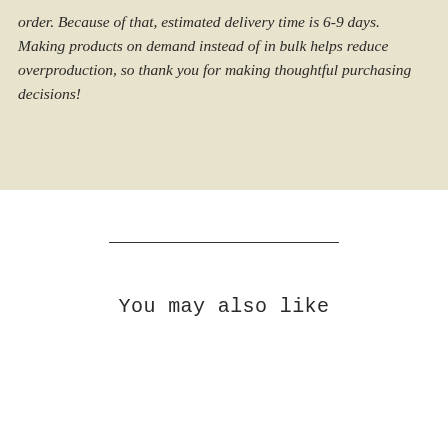order. Because of that, estimated delivery time is 6-9 days. Making products on demand instead of in bulk helps reduce overproduction, so thank you for making thoughtful purchasing decisions!
You may also like